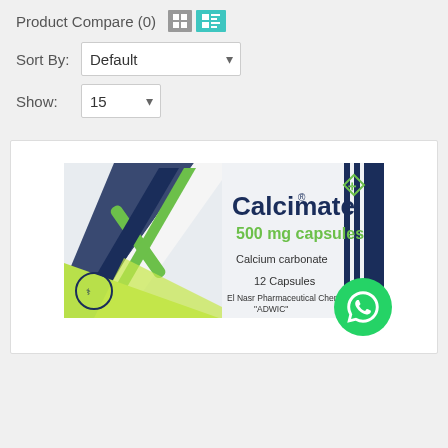Product Compare (0)
[Figure (screenshot): Toolbar with grid and list view icons, sort by dropdown set to Default, show dropdown set to 15]
[Figure (photo): Calcimate 500 mg capsules product box - Calcium carbonate, 12 Capsules, El Nasr Pharmaceutical Chemicals Co 'ADWIC', with WhatsApp contact button overlay]